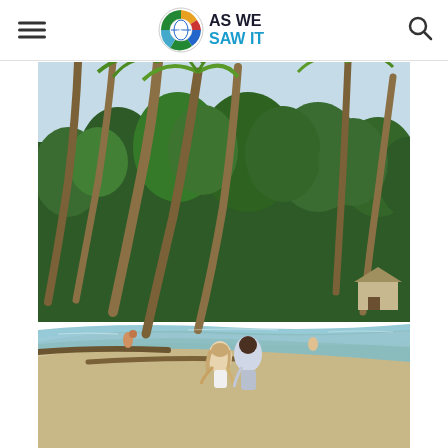AS WE SAW IT — navigation header with hamburger menu, logo, and search icon
[Figure (photo): A tropical beach scene with leaning palm trees, lush green jungle in the background, clear shallow water, and two people (a woman in white and a man in light blue/white) standing at the water's edge viewed from behind.]